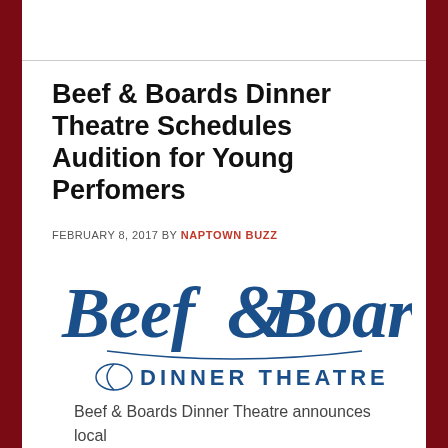Beef & Boards Dinner Theatre Schedules Audition for Young Perfomers
FEBRUARY 8, 2017 BY NAPTOWN BUZZ
[Figure (logo): Beef & Boards Dinner Theatre logo in blue script and serif text]
Beef & Boards Dinner Theatre announces local